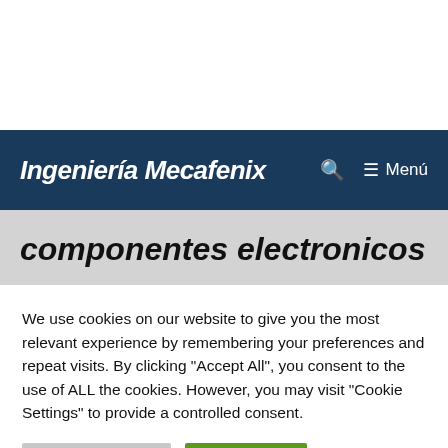Ingeniería Mecafenix
componentes electronicos
We use cookies on our website to give you the most relevant experience by remembering your preferences and repeat visits. By clicking "Accept All", you consent to the use of ALL the cookies. However, you may visit "Cookie Settings" to provide a controlled consent.
Cookie Settings | Accept All